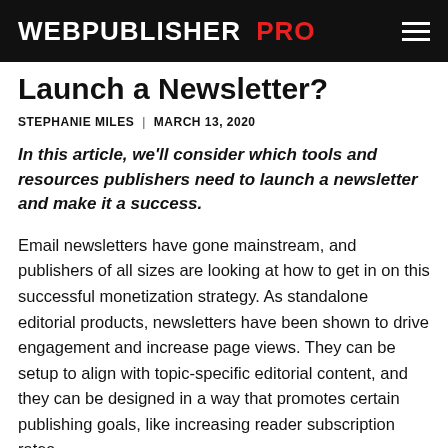WEBPUBLISHER PRO
Launch a Newsletter?
STEPHANIE MILES  |  MARCH 13, 2020
In this article, we'll consider which tools and resources publishers need to launch a newsletter and make it a success.
Email newsletters have gone mainstream, and publishers of all sizes are looking at how to get in on this successful monetization strategy. As standalone editorial products, newsletters have been shown to drive engagement and increase page views. They can be setup to align with topic-specific editorial content, and they can be designed in a way that promotes certain publishing goals, like increasing reader subscription rates.